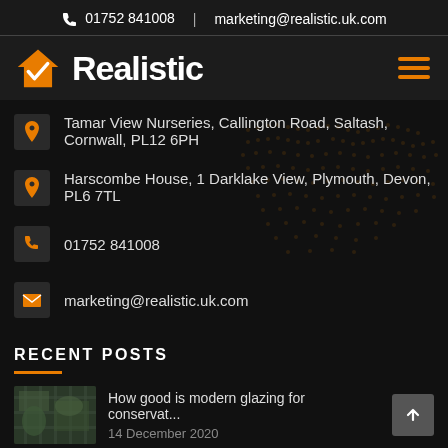01752 841008  |  marketing@realistic.uk.com
[Figure (logo): Realistic brand logo with orange house checkmark icon and white bold text 'Realistic']
Tamar View Nurseries, Callington Road, Saltash, Cornwall, PL12 6PH
Harscombe House, 1 Darklake View, Plymouth, Devon, PL6 7TL
01752 841008
marketing@realistic.uk.com
RECENT POSTS
How good is modern glazing for conservat...
14 December 2020